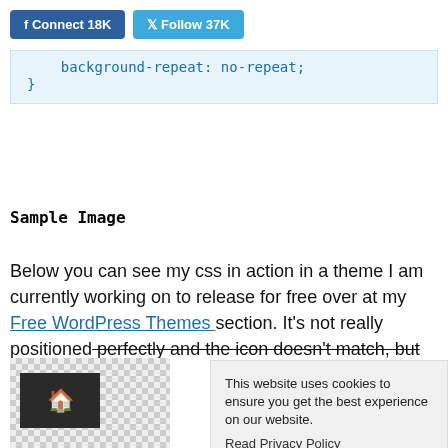f Connect 18K   Follow 37K
background-repeat: no-repeat;
}
Sample Image
Below you can see my css in action in a theme I am currently working on to release for free over at my Free WordPress Themes section. It's not really positioned perfectly and the icon doesn't match, but for the sake of the sake to work.
[Figure (screenshot): Partial screenshot of a WordPress theme with a dark header and a house icon, on a checkered background]
This website uses cookies to ensure you get the best experience on our website.
Read Privacy Policy
Got it!